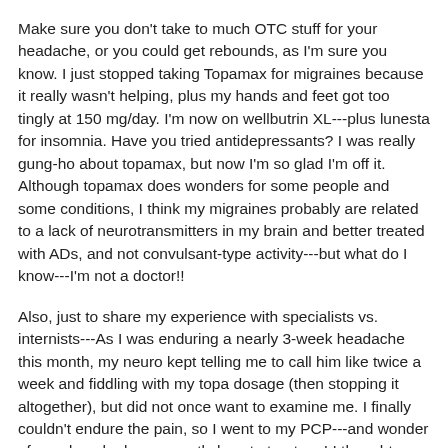Make sure you don't take to much OTC stuff for your headache, or you could get rebounds, as I'm sure you know. I just stopped taking Topamax for migraines because it really wasn't helping, plus my hands and feet got too tingly at 150 mg/day. I'm now on wellbutrin XL---plus lunesta for insomnia. Have you tried antidepressants? I was really gung-ho about topamax, but now I'm so glad I'm off it. Although topamax does wonders for some people and some conditions, I think my migraines probably are related to a lack of neurotransmitters in my brain and better treated with ADs, and not convulsant-type activity---but what do I know---I'm not a doctor!!
Also, just to share my experience with specialists vs. internists---As I was enduring a nearly 3-week headache this month, my neuro kept telling me to call him like twice a week and fiddling with my topa dosage (then stopping it altogether), but did not once want to examine me. I finally couldn't endure the pain, so I went to my PCP---and wonder of wonders, he knew exactly how to treat me! I thought a specialist would be better for my migraines, but I've decided to stick with my internist and to see his brother (who happens to be a neuro!) as needed and